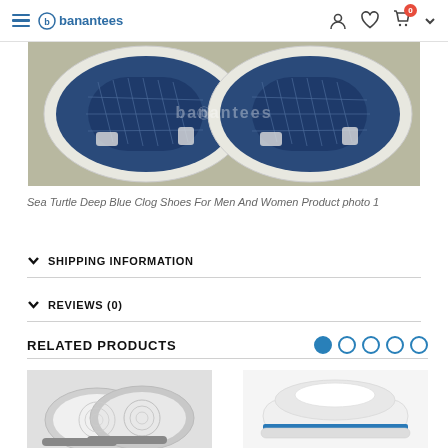banantees — navigation header with hamburger, logo, user, wishlist, cart icons
[Figure (photo): Close-up product photo of Sea Turtle Deep Blue Clog Shoes showing the sole/bottom with turtle design, with banantees watermark overlay]
Sea Turtle Deep Blue Clog Shoes For Men And Women Product photo 1
SHIPPING INFORMATION
REVIEWS (0)
RELATED PRODUCTS
[Figure (photo): Related product thumbnail - white/silver clog shoes]
[Figure (photo): Related product thumbnail - white shoe with blue detail]